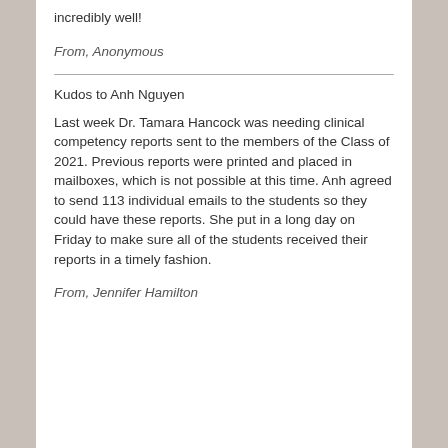incredibly well!
From, Anonymous
Kudos to Anh Nguyen
Last week Dr. Tamara Hancock was needing clinical competency reports sent to the members of the Class of 2021.  Previous reports were printed and placed in mailboxes, which is not possible at this time.  Anh agreed to send 113 individual emails to the students so they could have these reports.  She put in a long day on Friday to make sure all of the students received their reports in a timely fashion.
From, Jennifer Hamilton